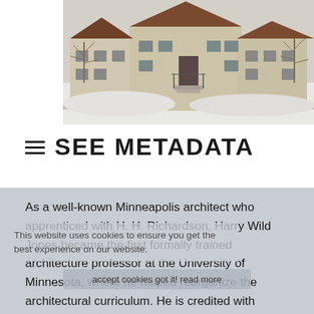[Figure (photo): Exterior photograph of a historic stone building in winter, with snow on the ground, bare trees, and a steep brown/red roof. Stairs lead to a dark-colored front door.]
≡ SEE METADATA
As a well-known Minneapolis architect who apprenticed with H. H. Richardson, Harry Wild Jones became the first formally trained architecture professor at the University of Minnesota, where he helped reorganize the architectural curriculum. He is credited with introducing Shingle Style architecture regionally.